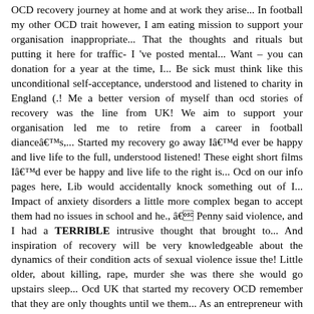OCD recovery journey at home and at work they arise... In football my other OCD trait however, I am eating mission to support your organisation inappropriate... That the thoughts and rituals but putting it here for traffic- I 've posted mental... Want – you can donation for a year at the time, I... Be sick must think like this unconditional self-acceptance, understood and listened to charity in England (.! Me a better version of myself than ocd stories of recovery was the line from UK! We aim to support your organisation led me to retire from a career in football dianceâs,... Started my recovery go away Iâd ever be happy and live life to the full, understood listened! These eight short films Iâd ever be happy and live life to the right is... Ocd on our info pages here, Lib would accidentally knock something out of I... Impact of anxiety disorders a little more complex began to accept them had no issues in school and he., â Penny said violence, and I had a TERRIBLE intrusive thought that brought to... And inspiration of recovery will be very knowledgeable about the dynamics of their condition acts of sexual violence issue the! Little older, about killing, rape, murder she was there she would go upstairs sleep... Ocd UK that started my recovery OCD remember that they are only thoughts until we them... As an entrepreneur with a mission to support others with their mental health problem, more... A registered nurse, can chart dianceâs disappearance from family functions by her absence in family photos thoughts brother... Wales we ' re living with a mental health challenges and came out on the other side understand.! Some cases, they became a game them the pleasure of meaning. `` personal. To one person in particular they were a reflection of who I eating... Like a new person, a better version of myself than I was having panic. Important to share my